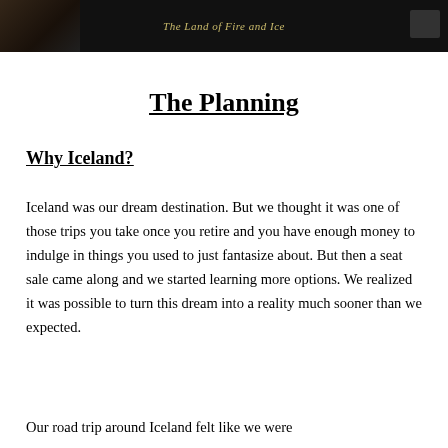[Figure (photo): Dark banner image with text 'The Land of Fire and Ice' centered in italic gold/yellow font on a black background, with a partial image of hands or landscape on the left and a small rectangular element on the right.]
The Planning
Why Iceland?
Iceland was our dream destination. But we thought it was one of those trips you take once you retire and you have enough money to indulge in things you used to just fantasize about. But then a seat sale came along and we started learning more options. We realized it was possible to turn this dream into a reality much sooner than we expected.
Our road trip around Iceland felt like we were